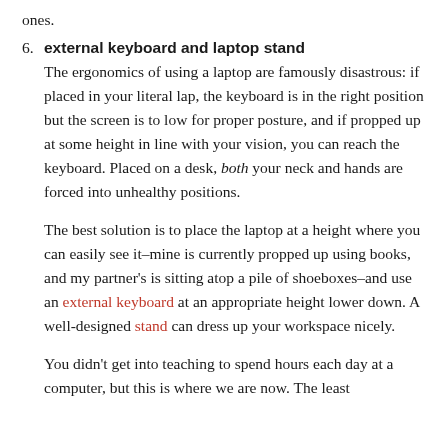ones.
6. external keyboard and laptop stand
The ergonomics of using a laptop are famously disastrous: if placed in your literal lap, the keyboard is in the right position but the screen is to low for proper posture, and if propped up at some height in line with your vision, you can reach the keyboard. Placed on a desk, both your neck and hands are forced into unhealthy positions.

The best solution is to place the laptop at a height where you can easily see it–mine is currently propped up using books, and my partner's is sitting atop a pile of shoeboxes–and use an external keyboard at an appropriate height lower down. A well-designed stand can dress up your workspace nicely.

You didn't get into teaching to spend hours each day at a computer, but this is where we are now. The least